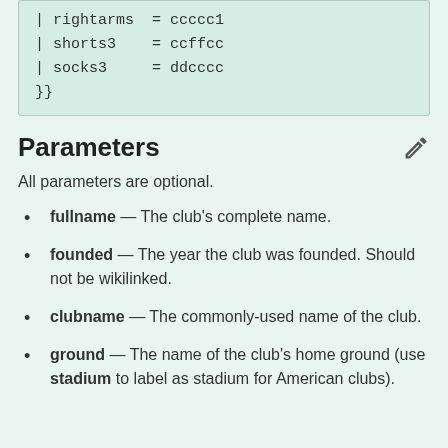| rightarms = ccccc1
| shorts3 = ccffcc
| socks3 = ddcccc
}}
Parameters
All parameters are optional.
fullname — The club's complete name.
founded — The year the club was founded. Should not be wikilinked.
clubname — The commonly-used name of the club.
ground — The name of the club's home ground (use stadium to label as stadium for American clubs).